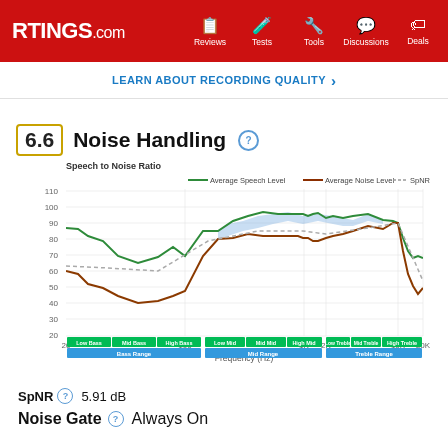RTINGS.com | Reviews | Tests | Tools | Discussions | Deals
LEARN ABOUT RECORDING QUALITY >
6.6 Noise Handling
[Figure (continuous-plot): Line chart showing Average Speech Level (green), Average Noise Level (brown/red), and SpNR (dashed gray) across frequency (Hz) from 20 to 20K. The shaded blue area shows where speech exceeds noise. X-axis labeled 'Frequency (Hz)', Y-axis ranges from approximately 20 to 110. Colored band labels at bottom indicate Low Bass, Mid Bass, High Bass, Low Mid, Mid Mid, High Mid, Low Treble, Mid Treble, High Treble, and broader Bass Range, Mid Range, Treble Range.]
SpNR  5.91 dB
Noise Gate  Always On